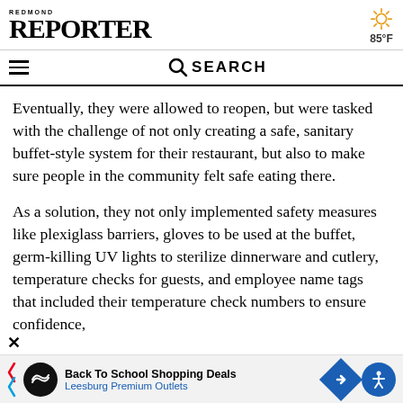REDMOND REPORTER — 85°F
Eventually, they were allowed to reopen, but were tasked with the challenge of not only creating a safe, sanitary buffet-style system for their restaurant, but also to make sure people in the community felt safe eating there.
As a solution, they not only implemented safety measures like plexiglass barriers, gloves to be used at the buffet, germ-killing UV lights to sterilize dinnerware and cutlery, temperature checks for guests, and employee name tags that included their temperature check numbers to ensure confidence,
Back To School Shopping Deals Leesburg Premium Outlets